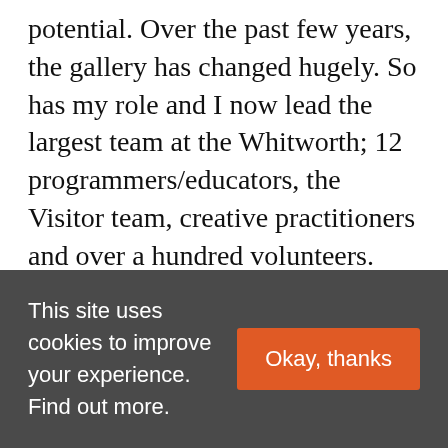potential. Over the past few years, the gallery has changed hugely. So has my role and I now lead the largest team at the Whitworth; 12 programmers/educators, the Visitor team, creative practitioners and over a hundred volunteers. Visitor figures have doubled as our programming has become ever more ambitious. By the time we closed in September 2013, we were bursting at the seams.
Since we closed, we've been doing things a bit
This site uses cookies to improve your experience. Find out more.
Okay, thanks